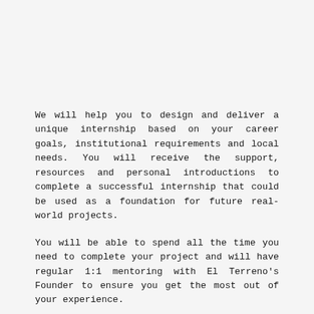We will help you to design and deliver a unique internship based on your career goals, institutional requirements and local needs. You will receive the support, resources and personal introductions to complete a successful internship that could be used as a foundation for future real-world projects.
You will be able to spend all the time you need to complete your project and will have regular 1:1 mentoring with El Terreno's Founder to ensure you get the most out of your experience.
Living with a local host family you will have the opportunity to get to know the local culture, practice your Spanish and enjoy some privacy. You will be within just a few minutes walk from Casa